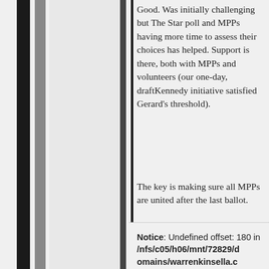Good. Was initially challenging but The Star poll and MPPs having more time to assess their choices has helped. Support is there, both with MPPs and volunteers (our one-day, draftKennedy initiative satisfied Gerard's threshold).
The key is making sure all MPPs are united after the last ballot.
Notice: Undefined offset: 180 in /nfs/c05/h06/mnt/72829/domains/warrenkinsella.c